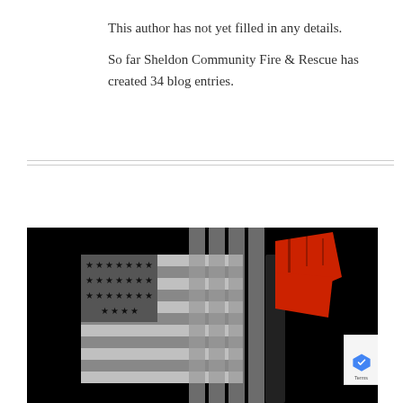This author has not yet filled in any details.
So far Sheldon Community Fire & Rescue has created 34 blog entries.
[Figure (photo): Dark background image featuring a grayscale American flag with stars and stripes on the left side, and a red firefighter axe/halligan bar logo overlaid on the right, with vertical stripe-like elements suggesting a stylized firefighter emblem.]